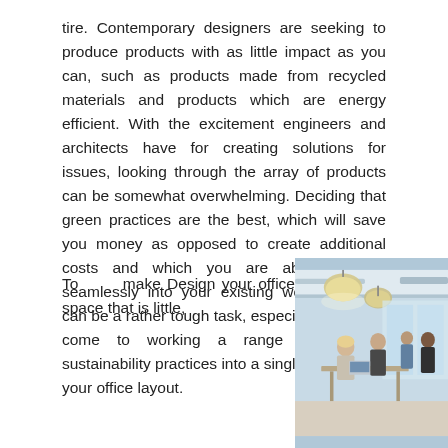tire. Contemporary designers are seeking to produce products with as little impact as you can, such as products made from recycled materials and products which are energy efficient. With the excitement engineers and architects have for creating solutions for issues, looking through the array of products can be somewhat overwhelming. Deciding that green practices are the best, which will save you money as opposed to create additional costs and which you are able to work seamlessly into your existing work practices can be a rather tough task, especially once you come to working a range of different sustainability practices into a single strategy for your office layout.
To make Design your office space that is little,
[Figure (photo): Office interior photo showing people working at standing desks with pendant lights hanging from the ceiling, modern open-plan office space with large windows]